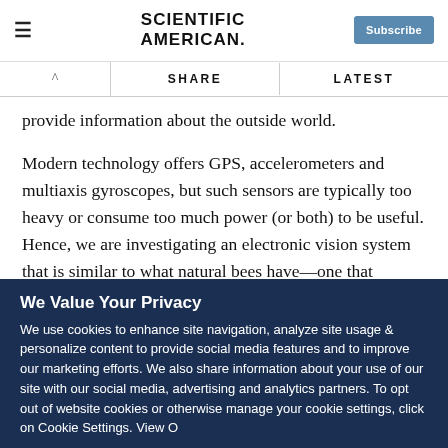Scientific American — Subscribe
provide information about the outside world.
Modern technology offers GPS, accelerometers and multiaxis gyroscopes, but such sensors are typically too heavy or consume too much power (or both) to be useful. Hence, we are investigating an electronic vision system that is similar to what natural bees have—one that analyzes “optical flow,” the apparent motion of objects in the visual field of an image
We Value Your Privacy
We use cookies to enhance site navigation, analyze site usage & personalize content to provide social media features and to improve our marketing efforts. We also share information about your use of our site with our social media, advertising and analytics partners. To opt out of website cookies or otherwise manage your cookie settings, click on Cookie Settings. View O